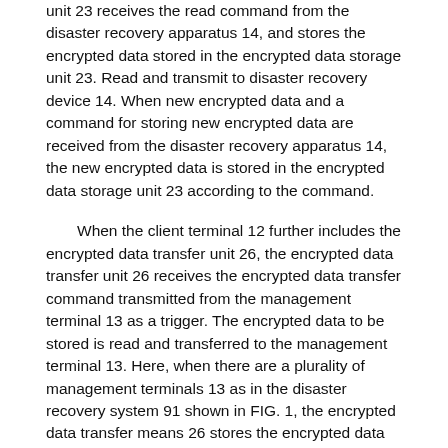unit 23 receives the read command from the disaster recovery apparatus 14, and stores the encrypted data stored in the encrypted data storage unit 23. Read and transmit to disaster recovery device 14. When new encrypted data and a command for storing new encrypted data are received from the disaster recovery apparatus 14, the new encrypted data is stored in the encrypted data storage unit 23 according to the command.
When the client terminal 12 further includes the encrypted data transfer unit 26, the encrypted data transfer unit 26 receives the encrypted data transfer command transmitted from the management terminal 13 as a trigger. The encrypted data to be stored is read and transferred to the management terminal 13. Here, when there are a plurality of management terminals 13 as in the disaster recovery system 91 shown in FIG. 1, the encrypted data transfer means 26 stores the encrypted data stored in the client terminal 12 for each of the plurality of management terminals 13. It is preferable to transfer to.
The management terminal 13 shown in FIG. 1 is connected to the master server 11 via the communication network 15, and restores the data file stored in the data file